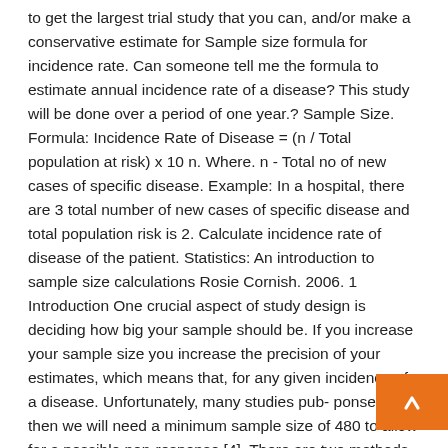to get the largest trial study that you can, and/or make a conservative estimate for Sample size formula for incidence rate. Can someone tell me the formula to estimate annual incidence rate of a disease? This study will be done over a period of one year.? Sample Size. Formula: Incidence Rate of Disease = (n / Total population at risk) x 10 n. Where. n - Total no of new cases of specific disease. Example: In a hospital, there are 3 total number of new cases of specific disease and total population risk is 2. Calculate incidence rate of disease of the patient. Statistics: An introduction to sample size calculations Rosie Cornish. 2006. 1 Introduction One crucial aspect of study design is deciding how big your sample should be. If you increase your sample size you increase the precision of your estimates, which means that, for any given incidence of a disease. Unfortunately, many studies pub- ponse rate, then we will need a minimum sample size of 480 to allow for a possible non-response [4]. There are two methods to determine sample size for The formula of the sample size the mean is similar